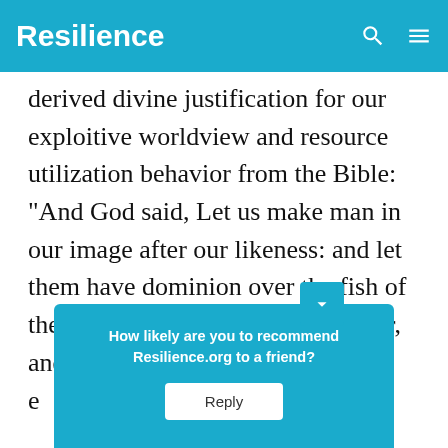Resilience
derived divine justification for our exploitive worldview and resource utilization behavior from the Bible: “And God said, Let us make man in our image after our likeness: and let them have dominion over the fish of the sea, and over the fowl of the air, and over the cattle, and over all the earth, and over every creeping thing that creepeth upon
How likely are you to recommend Resilience.org to a friend? Reply